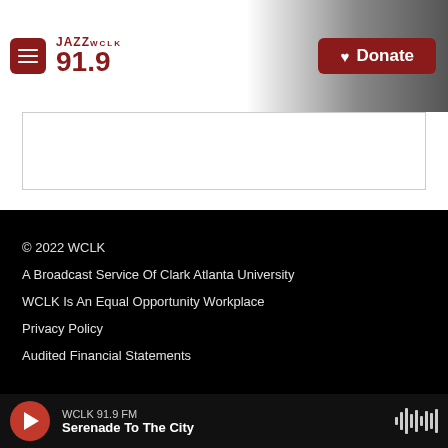[Figure (logo): JAZZ WCLK 91.9 FM radio station logo with hamburger menu button]
[Figure (other): Red Donate button with heart icon in header]
© 2022 WCLK
A Broadcast Service Of Clark Atlanta University
WCLK Is An Equal Opportunity Workplace
Privacy Policy
Audited Financial Statements
WCLK 91.9 FM
Serenade To The City